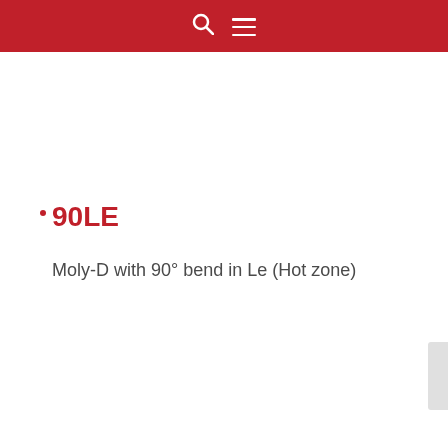90LE
Moly-D with 90° bend in Le (Hot zone)